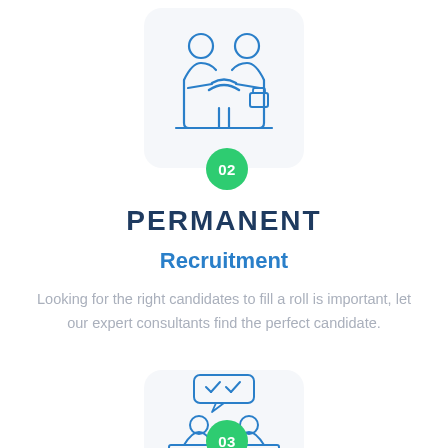[Figure (illustration): Two people shaking hands icon in blue outline style, inside a light grey rounded card. A green circle badge with '02' is at the bottom-right corner of the card.]
PERMANENT
Recruitment
Looking for the right candidates to fill a roll is important, let our expert consultants find the perfect candidate.
[Figure (illustration): An interview scene icon in blue outline style showing two people at a desk with a speech bubble, inside a light grey rounded card. A green circle badge with '03' is at the bottom-right corner of the card.]